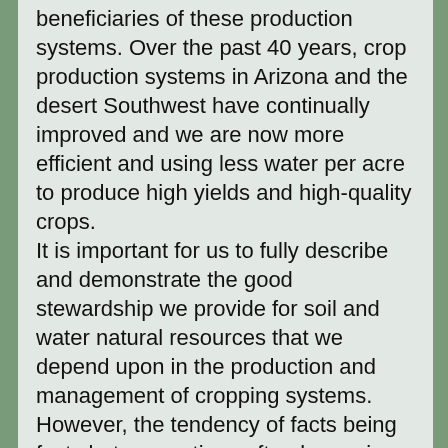beneficiaries of these production systems. Over the past 40 years, crop production systems in Arizona and the desert Southwest have continually improved and we are now more efficient and using less water per acre to produce high yields and high-quality crops. It is important for us to fully describe and demonstrate the good stewardship we provide for soil and water natural resources that we depend upon in the production and management of cropping systems. However, the tendency of facts being facts but perceptions often becoming people's reality, we must recognize that it can be challenging to communicate to non-agricultural audiences the basic facts about agriculture and water use and the good stewardship being employed. For example, effectively communicating an understanding that agriculture is a process of managing living organisms; animals, and crop plants, in the field under natural environmental conditions is a challenging objective. Some people tend to think that agriculture is a factory level